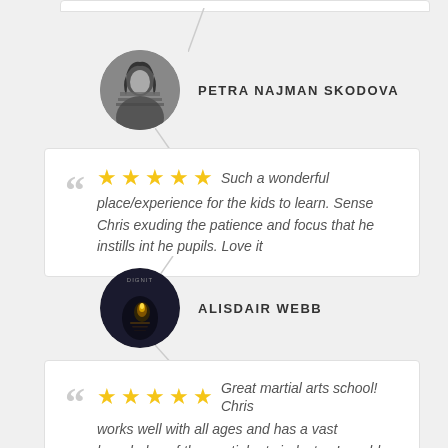[Figure (photo): Circular black and white profile photo of Petra Najman Skodova]
PETRA NAJMAN SKODOVA
Such a wonderful place/experience for the kids to learn. Sense Chris exuding the patience and focus that he instills int he pupils. Love it
[Figure (photo): Circular profile photo of Alisdair Webb showing a candle/light in dark background]
ALISDAIR WEBB
Great martial arts school! Chris works well with all ages and has a vast knowledge of the martial arts industry. I would highly recommend his school.